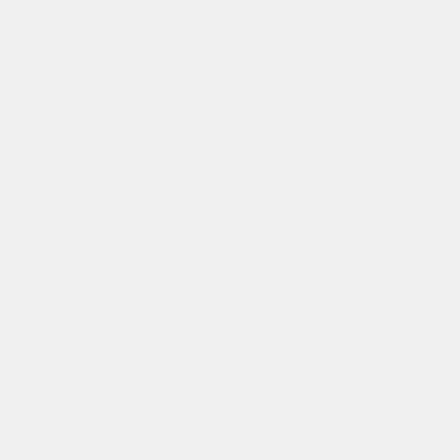| Feature/Change | Contact | Source |
| --- | --- | --- |
| emission inventories | (Leicester)
Emissions and Deposition Working Group | So |
| Updated offline biogenic emissions generated with GEOS-Chem 12.3.0
• Includes fixes for biogenic SOAP, SOAS, and CO emissions | Hongjian Weng (PKU) | So |
| Updated volcano emissions to include eruptive emissions through April 2018 | Christoph Keller (NASA/GMAO) | So |
| Remove CO from MEGAN HEMCO extension to avoid | Jenny Fisher (Wollongong) | Bu |